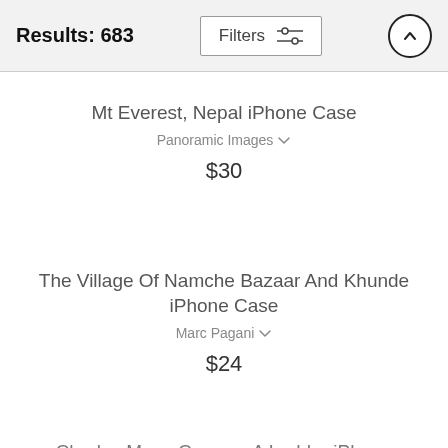Results: 683
Mt Everest, Nepal iPhone Case
Panoramic Images
$30
The Village Of Namche Bazaar And Khunde iPhone Case
Marc Pagani
$24
Charley Mace Crosses A Ladder iPhone